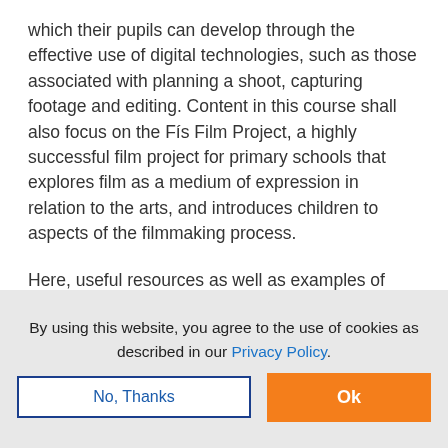which their pupils can develop through the effective use of digital technologies, such as those associated with planning a shoot, capturing footage and editing. Content in this course shall also focus on the Fís Film Project, a highly successful film project for primary schools that explores film as a medium of expression in relation to the arts, and introduces children to aspects of the filmmaking process.

Here, useful resources as well as examples of note for use in the classroom, will be discussed and
By using this website, you agree to the use of cookies as described in our Privacy Policy.